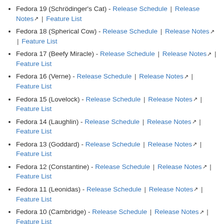Fedora 19 (Schrödinger's Cat) - Release Schedule | Release Notes | Feature List
Fedora 18 (Spherical Cow) - Release Schedule | Release Notes | Feature List
Fedora 17 (Beefy Miracle) - Release Schedule | Release Notes | Feature List
Fedora 16 (Verne) - Release Schedule | Release Notes | Feature List
Fedora 15 (Lovelock) - Release Schedule | Release Notes | Feature List
Fedora 14 (Laughlin) - Release Schedule | Release Notes | Feature List
Fedora 13 (Goddard) - Release Schedule | Release Notes | Feature List
Fedora 12 (Constantine) - Release Schedule | Release Notes | Feature List
Fedora 11 (Leonidas) - Release Schedule | Release Notes | Feature List
Fedora 10 (Cambridge) - Release Schedule | Release Notes | Feature List
Fedora 9 (Sulphur) - Release Schedule | Release Notes |